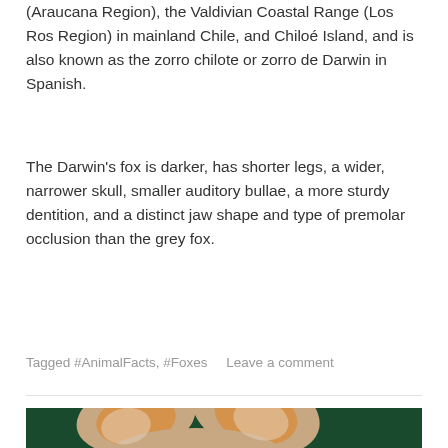(Araucana Region), the Valdivian Coastal Range (Los Ros Region) in mainland Chile, and Chiloé Island, and is also known as the zorro chilote or zorro de Darwin in Spanish.
The Darwin's fox is darker, has shorter legs, a wider, narrower skull, smaller auditory bullae, a more sturdy dentition, and a distinct jaw shape and type of premolar occlusion than the grey fox.
Tagged #AnimalFacts, #Foxes    Leave a comment
[Figure (photo): Close-up photo of a fennec fox face with large ears against a dark green background]